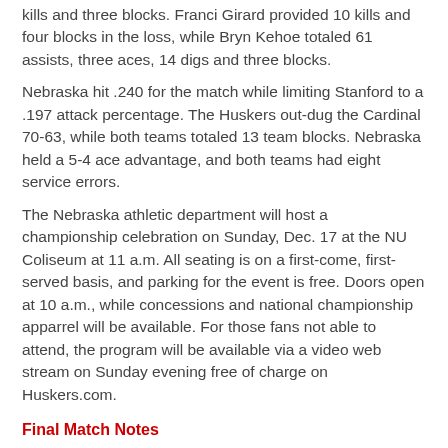kills and three blocks. Franci Girard provided 10 kills and four blocks in the loss, while Bryn Kehoe totaled 61 assists, three aces, 14 digs and three blocks.
Nebraska hit .240 for the match while limiting Stanford to a .197 attack percentage. The Huskers out-dug the Cardinal 70-63, while both teams totaled 13 team blocks. Nebraska held a 5-4 ace advantage, and both teams had eight service errors.
The Nebraska athletic department will host a championship celebration on Sunday, Dec. 17 at the NU Coliseum at 11 a.m. All seating is on a first-come, first-served basis, and parking for the event is free. Doors open at 10 a.m., while concessions and national championship apparrel will be available. For those fans not able to attend, the program will be available via a video web stream on Sunday evening free of charge on Huskers.com.
Final Match Notes
Stanford Quotes